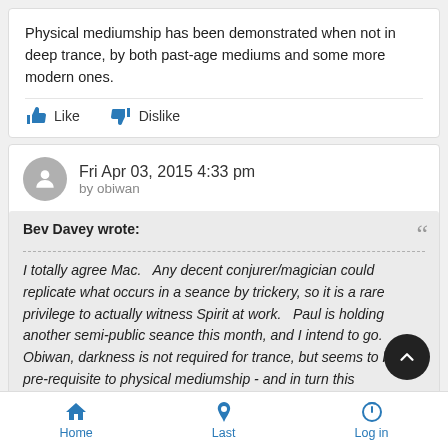Physical mediumship has been demonstrated when not in deep trance, by both past-age mediums and some more modern ones.
Like   Dislike
Fri Apr 03, 2015 4:33 pm
by obiwan
Bev Davey wrote:
I totally agree Mac.   Any decent conjurer/magician could replicate what occurs in a seance by trickery, so it is a rare privilege to actually witness Spirit at work.   Paul is holding another semi-public seance this month, and I intend to go. Obiwan, darkness is not required for trance, but seems to be a pre-requisite to physical mediumship - and in turn this
Home   Last   Log in